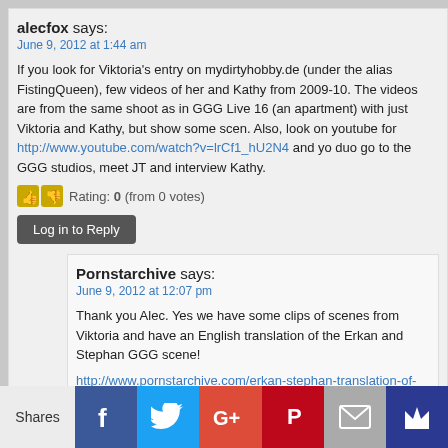alecfox says:
June 9, 2012 at 1:44 am
If you look for Viktoria's entry on mydirtyhobby.de (under the alias FistingQueen), few videos of her and Kathy from 2009-10. The videos are from the same shoot as in GGG Live 16 (an apartment) with just Viktoria and Kathy, but show some scen. Also, look on youtube for http://www.youtube.com/watch?v=lrCf1_hU2N4 and yo duo go to the GGG studios, meet JT and interview Kathy.
Rating: 0 (from 0 votes)
Log in to Reply
Pornstarchive says:
June 9, 2012 at 12:07 pm
Thank you Alec. Yes we have some clips of scenes from Viktoria and have an English translation of the Erkan and Stephan GGG scene!
http://www.pornstarchive.com/erkan-stephan-translation-of-interview-
Rating: 0 (from 0 votes)
Log in to Reply
Shares